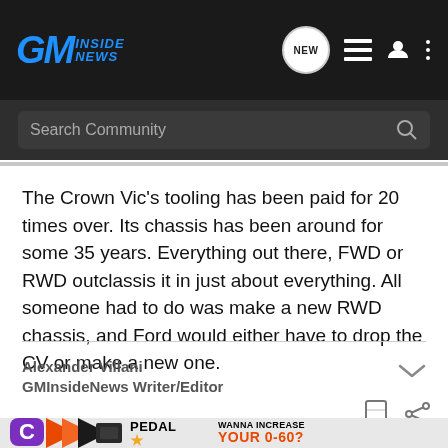GM Inside News
Search Community
The Crown Vic's tooling has been paid for 20 times over. Its chassis has been around for some 35 years. Everything out there, FWD or RWD outclassis it in just about everything. All someone had to do was make a new RWD chassis, and Ford would either have to drop the CV or make a new one.
Alexander Villani
GMInsideNews Writer/Editor
[Figure (screenshot): Bottom advertisement bar featuring Pedal Commander product with orange graphic, purple C logo, and text 'WANNA INCREASE YOUR 0-60?']